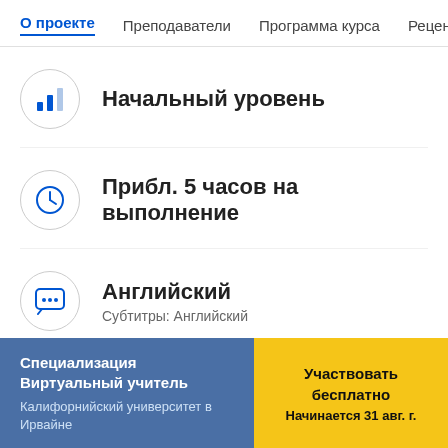О проекте   Преподаватели   Программа курса   Рецен...
Начальный уровень
Прибл. 5 часов на выполнение
Английский
Субтитры: Английский
Специализация Виртуальный учитель
Калифорнийский университет в Ирвайне
Участвовать бесплатно
Начинается 31 авг. г.